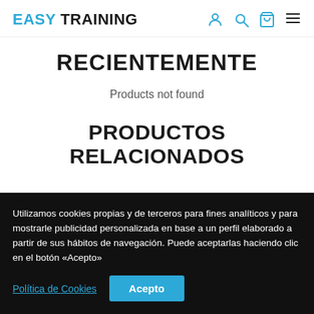EASY TRAINING
RECIENTEMENTE
Products not found
PRODUCTOS RELACIONADOS
Utilizamos cookies propias y de terceros para fines analíticos y para mostrarle publicidad personalizada en base a un perfil elaborado a partir de sus hábitos de navegación. Puede aceptarlas haciendo clic en el botón «Acepto»
Política de Cookies | Acepto